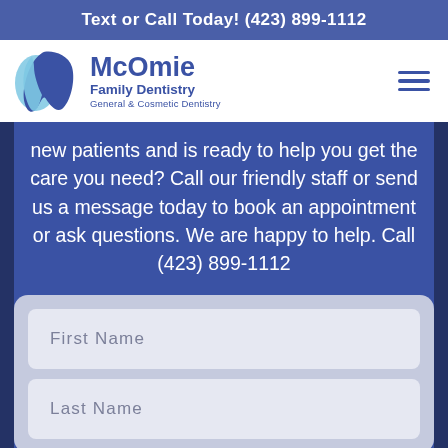Text or Call Today! (423) 899-1112
[Figure (logo): McOmie Family Dentistry logo with tooth icon and text]
new patients and is ready to help you get the care you need? Call our friendly staff or send us a message today to book an appointment or ask questions. We are happy to help. Call (423) 899-1112
First Name
Last Name